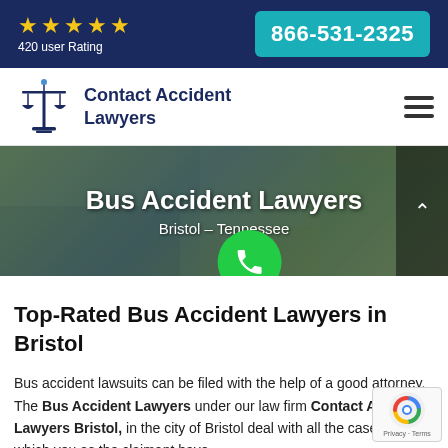[Figure (infographic): Top banner with 5 gold stars, '420 user Rating' text, and a teal phone number button showing '866-531-2325' on a dark navy background]
[Figure (logo): Contact Accident Lawyers logo with scales of justice icon and text 'Contact Accident Lawyers' in dark navy blue, with hamburger menu icon on the right]
[Figure (photo): Hero banner showing aerial view of a road/construction scene with white text overlay reading 'Bus Accident Lawyers' and 'Bristol - Tennessee', a green phone circle button, and a dark arrow-up navigation box on the right]
Top-Rated Bus Accident Lawyers in Bristol
Bus accident lawsuits can be filed with the help of a good attorney. The Bus Accident Lawyers under our law firm Contact Accident Lawyers Bristol, in the city of Bristol deal with all the cases in which you as the claimant have